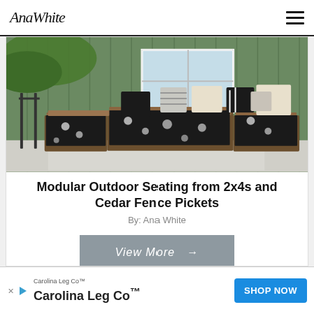Ana White
[Figure (photo): Outdoor sectional sofa made from wood with black floral cushions and various throw pillows, set on a porch with green siding and white windows]
Modular Outdoor Seating from 2x4s and Cedar Fence Pickets
By: Ana White
View More →
Carolina Leg Co™ Carolina Leg Co™ SHOP NOW